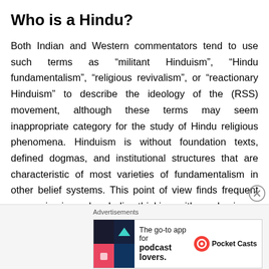Who is a Hindu?
Both Indian and Western commentators tend to use such terms as “militant Hinduism”, “Hindu fundamentalism”, “religious revivalism”, or “reactionary Hinduism” to describe the ideology of the (RSS) movement, although these terms may seem inappropriate category for the study of Hindu religious phenomena. Hinduism is without foundation texts, defined dogmas, and institutional structures that are characteristic of most varieties of fundamentalism in other belief systems. This point of view finds frequent expression in modern Indian thinking, with emphasis
[Figure (other): Advertisement banner: Pocket Casts app ad — 'The go-to app for podcast lovers.' with Pocket Casts logo and colorful app icon]